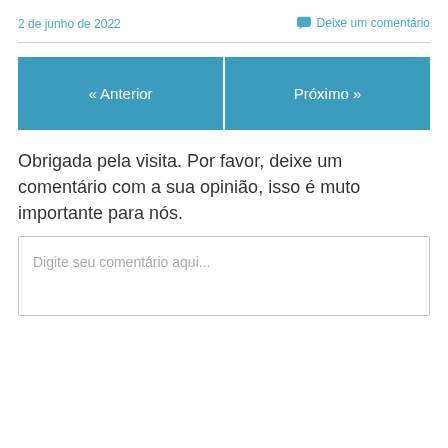2 de junho de 2022
Deixe um comentário
« Anterior
Próximo »
Obrigada pela visita. Por favor, deixe um comentário com a sua opinião, isso é muto importante para nós.
Digite seu comentário aqui...